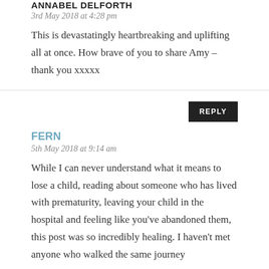ANNABEL DELFORTH
3rd May 2018 at 4:28 pm
This is devastatingly heartbreaking and uplifting all at once. How brave of you to share Amy – thank you xxxxx
REPLY
FERN
5th May 2018 at 9:14 am
While I can never understand what it means to lose a child, reading about someone who has lived with prematurity, leaving your child in the hospital and feeling like you've abandoned them, this post was so incredibly healing. I haven't met anyone who walked the same journey